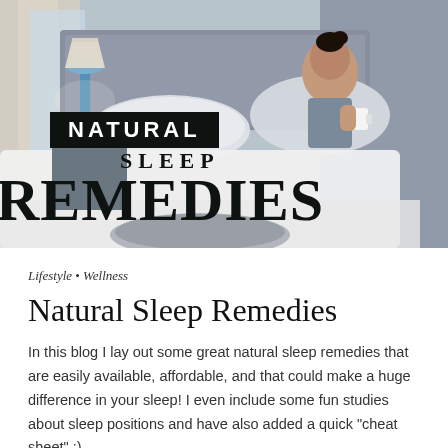[Figure (photo): Hero image of a woman sitting in bed holding a cup, with text overlay reading NATURAL SLEEP REMEDIES. Background shows bedroom with lamp, curtains, and pillows.]
Lifestyle • Wellness
Natural Sleep Remedies
In this blog I lay out some great natural sleep remedies that are easily available, affordable, and that could make a huge difference in your sleep! I even include some fun studies about sleep positions and have also added a quick "cheat sheet" :)